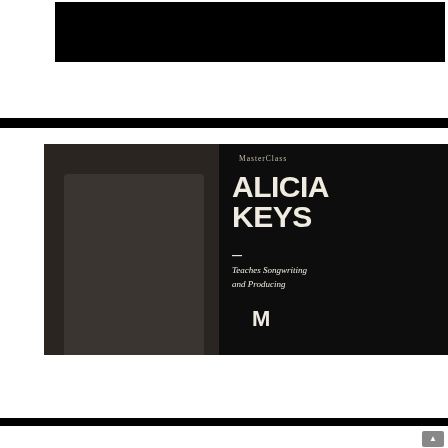[Figure (screenshot): Black video player area at the top of the page]
[Figure (photo): MasterClass promotional image for Alicia Keys Teaches Songwriting and Producing course, showing Alicia Keys standing on the left against a dark background, with MasterClass branding, the text 'ALICIA KEYS', a dash, 'Teaches Songwriting and Producing', and the MasterClass M logo on a dark background]
[Figure (screenshot): Partial white card at the bottom of the page with a scroll-to-top button in the bottom right corner]